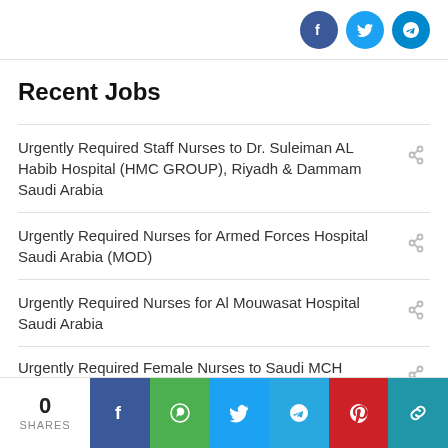[Figure (infographic): Social share icons: Facebook, Twitter, Telegram in circles at top right]
Recent Jobs
Urgently Required Staff Nurses to Dr. Suleiman AL Habib Hospital (HMC GROUP), Riyadh & Dammam Saudi Arabia
Urgently Required Nurses for Armed Forces Hospital Saudi Arabia (MOD)
Urgently Required Nurses for Al Mouwasat Hospital Saudi Arabia
Urgently Required Female Nurses to Saudi MCH
[Figure (infographic): Bottom share bar with 0 SHARES, Facebook, WhatsApp, Twitter, Telegram, Pinterest, Copy link buttons]